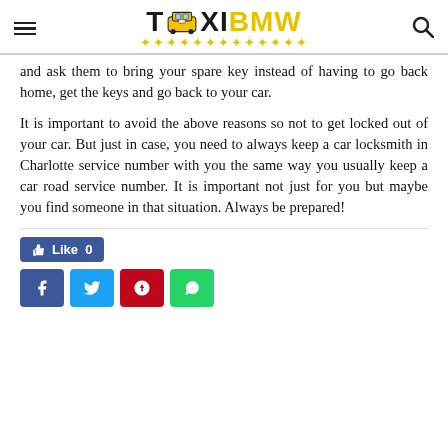TaxiBMW
and ask them to bring your spare key instead of having to go back home, get the keys and go back to your car.
It is important to avoid the above reasons so not to get locked out of your car. But just in case, you need to always keep a car locksmith in Charlotte service number with you the same way you usually keep a car road service number. It is important not just for you but maybe you find someone in that situation. Always be prepared!
[Figure (screenshot): Facebook Like button showing Like 0]
[Figure (screenshot): Social media share buttons: Facebook, Twitter, Pinterest, WhatsApp]